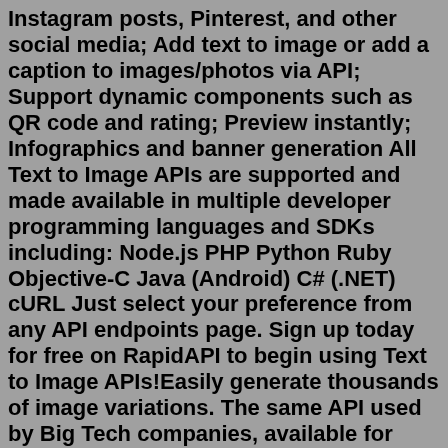Instagram posts, Pinterest, and other social media; Add text to image or add a caption to images/photos via API; Support dynamic components such as QR code and rating; Preview instantly; Infographics and banner generation All Text to Image APIs are supported and made available in multiple developer programming languages and SDKs including: Node.js PHP Python Ruby Objective-C Java (Android) C# (.NET) cURL Just select your preference from any API endpoints page. Sign up today for free on RapidAPI to begin using Text to Image APIs!Easily generate thousands of image variations. The same API used by Big Tech companies, available for you. We focus on building & maintaining the best image API. You spend your valuable time worrying about your business. Automate screenshots to Slack, Auto screenshot tweets + 1,000's more possibilities. Get started free. Auto-Position to create responsive image; Smart Crop to find a good crop for your image; Templates for Facebook posts, Instagram posts, Pinterest, and other social media; Add text to image